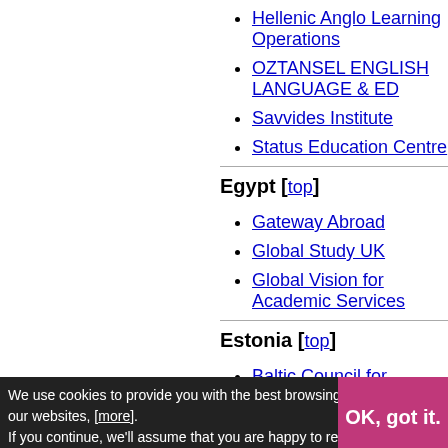Hellenic Anglo Learning Operations
OZTANSEL ENGLISH LANGUAGE & ED
Savvides Institute
Status Education Centre
Egypt [top]
Gateway Abroad
Global Study UK
Global Vision for Academic Services
Estonia [top]
Baltic Council for International Education
France [top]
Study Experience
Germany [top]
Hellenic Anglo Learning Operations
We use cookies to provide you with the best browsing experience on our websites, [more]. If you continue, we'll assume that you are happy to receive all